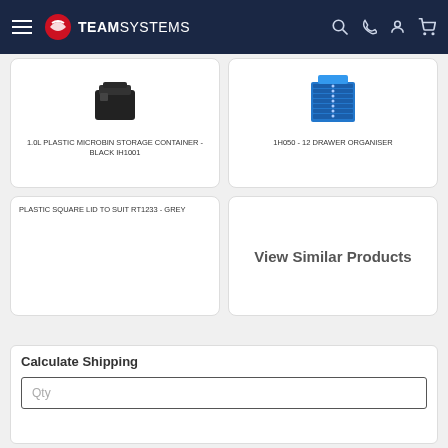Team Systems navigation bar
1.0L PLASTIC MICROBIN STORAGE CONTAINER - BLACK IH1001
[Figure (photo): Black plastic microbin storage container product image]
1H050 - 12 DRAWER ORGANISER
[Figure (photo): Blue 12 drawer organiser product image]
PLASTIC SQUARE LID TO SUIT RT1233 - GREY
View Similar Products
Calculate Shipping
Qty